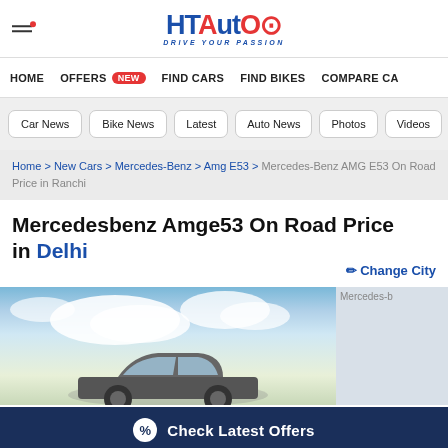HT Auto - Drive Your Passion
HOME   OFFERS new   FIND CARS   FIND BIKES   COMPARE CA
Car News
Bike News
Latest
Auto News
Photos
Videos
Home > New Cars > Mercedes-Benz > Amg E53 > Mercedes-Benz AMG E53 On Road Price in Ranchi
Mercedesbenz Amge53 On Road Price in Delhi
[Figure (photo): Mercedes-Benz AMG E53 car image with sky and clouds background, plus a thumbnail placeholder labeled Mercedes-b]
Check Latest Offers